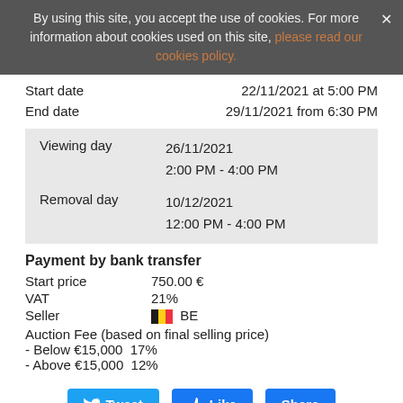By using this site, you accept the use of cookies. For more information about cookies used on this site, please read our cookies policy.
Start date   22/11/2021 at 5:00 PM
End date   29/11/2021 from 6:30 PM
| Viewing day | 26/11/2021
2:00 PM - 4:00 PM |
| Removal day | 10/12/2021
12:00 PM - 4:00 PM |
Payment by bank transfer
Start price   750.00 €
VAT   21%
Seller   BE
Auction Fee (based on final selling price)
- Below €15,000  17%
- Above €15,000  12%
Tweet   Like   Share